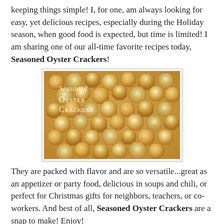keeping things simple! I, for one, am always looking for easy, yet delicious recipes, especially during the Holiday season, when good food is expected, but time is limited! I am sharing one of our all-time favorite recipes today, Seasoned Oyster Crackers!
[Figure (photo): Close-up photo of seasoned oyster crackers piled together, with text overlay reading 'Seasoned Oyster Crackers' in script/serif font]
They are packed with flavor and are so versatile...great as an appetizer or party food, delicious in soups and chili, or perfect for Christmas gifts for neighbors, teachers, or co-workers. And best of all, Seasoned Oyster Crackers are a snap to make! Enjoy!